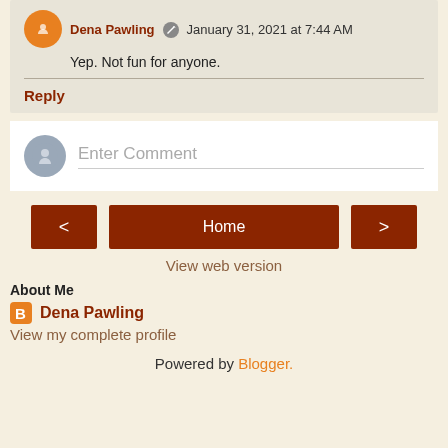Dena Pawling — January 31, 2021 at 7:44 AM — Yep. Not fun for anyone.
Reply
Enter Comment
< Home >
View web version
About Me
Dena Pawling
View my complete profile
Powered by Blogger.